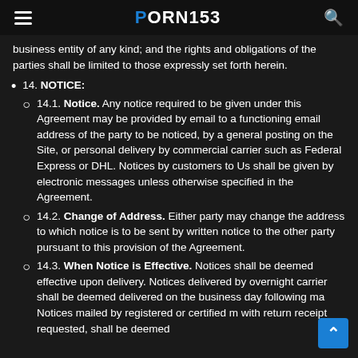PORN153
business entity of any kind; and the rights and obligations of the parties shall be limited to those expressly set forth herein.
14. NOTICE:
14.1. Notice. Any notice required to be given under this Agreement may be provided by email to a functioning email address of the party to be noticed, by a general posting on the Site, or personal delivery by commercial carrier such as Federal Express or DHL. Notices by customers to Us shall be given by electronic messages unless otherwise specified in the Agreement.
14.2. Change of Address. Either party may change the address to which notice is to be sent by written notice to the other party pursuant to this provision of the Agreement.
14.3. When Notice is Effective. Notices shall be deemed effective upon delivery. Notices delivered by overnight carrier shall be deemed delivered on the business day following ma... Notices mailed by registered or certified m... with return receipt requested, shall be deemed